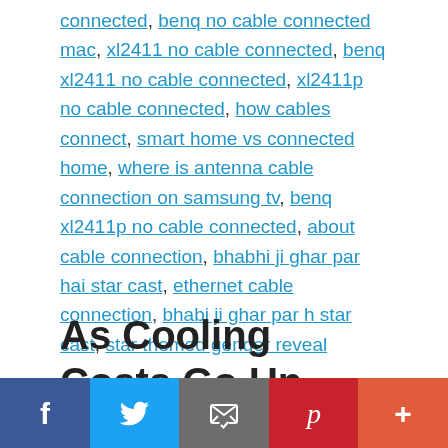connected, benq no cable connected mac, xl2411 no cable connected, benq xl2411 no cable connected, xl2411p no cable connected, how cables connect, smart home vs connected home, where is antenna cable connection on samsung tv, benq xl2411p no cable connected, about cable connection, bhabhi ji ghar par hai star cast, ethernet cable connection, bhabi ji ghar par h star cast, star themed gender reveal
As Cooling Costs Go Up, These Smart Thermostats Basically Pay for Themselves in Energy Savings